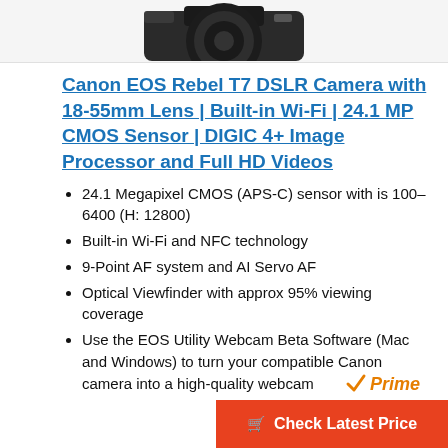[Figure (photo): Partial image of a Canon EOS Rebel T7 DSLR camera with lens, cropped at top of page]
Canon EOS Rebel T7 DSLR Camera with 18-55mm Lens | Built-in Wi-Fi | 24.1 MP CMOS Sensor | DIGIC 4+ Image Processor and Full HD Videos
24.1 Megapixel CMOS (APS-C) sensor with is 100–6400 (H: 12800)
Built-in Wi-Fi and NFC technology
9-Point AF system and AI Servo AF
Optical Viewfinder with approx 95% viewing coverage
Use the EOS Utility Webcam Beta Software (Mac and Windows) to turn your compatible Canon camera into a high-quality webcam
[Figure (logo): Amazon Prime logo with orange checkmark and italic Prime text]
Check Latest Price